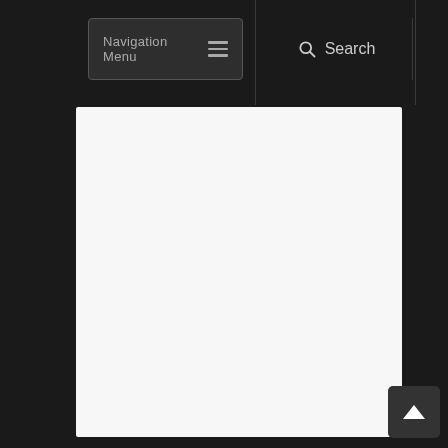Navigation Menu | Search
[Figure (screenshot): Empty white/light gray content area placeholder]
[Figure (other): Back to top button with upward arrow chevron]